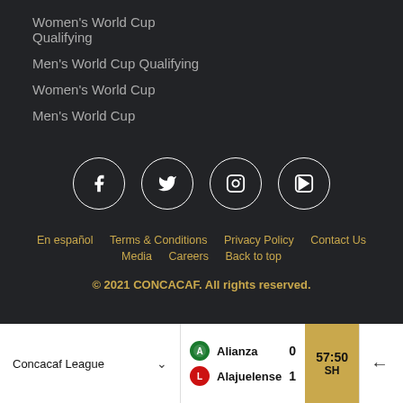Women's World Cup Qualifying
Men's World Cup Qualifying
Women's World Cup
Men's World Cup
[Figure (other): Social media icons: Facebook, Twitter, Instagram, YouTube — white circle outlines on dark background]
En español   Terms & Conditions   Privacy Policy   Contact Us   Media   Careers   Back to top
© 2021 CONCACAF. All rights reserved.
Concacaf League   Alianza 0   Alajuelense 1   57:50 SH